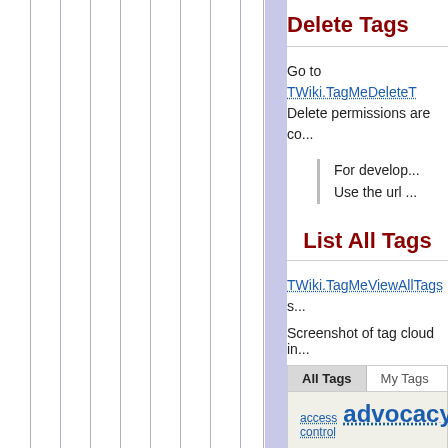Delete Tags
Go to TWiki.TagMeDeleteT... Delete permissions are co...
For develop... Use the url ...
List All Tags
TWiki.TagMeViewAllTags s...
Screenshot of tag cloud in...
[Figure (screenshot): Tag cloud screenshot showing All Tags and My Tags tabs with tag words of varying sizes including access control, advocacy, Edinburgh, forms, install]